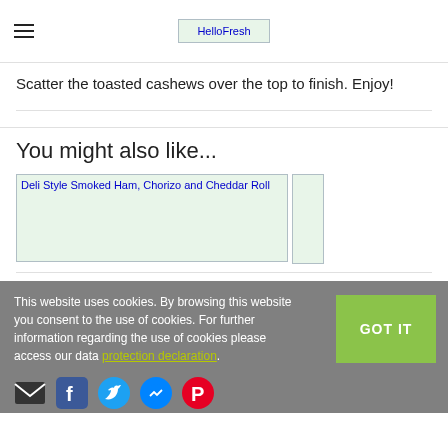HelloFresh
Scatter the toasted cashews over the top to finish. Enjoy!
You might also like...
[Figure (photo): Deli Style Smoked Ham, Chorizo and Cheddar Roll recipe image]
[Figure (photo): Partially visible second recipe image]
This website uses cookies. By browsing this website you consent to the use of cookies. For further information regarding the use of cookies please access our data protection declaration.
[Figure (infographic): Social media icons: email, Facebook, Twitter, Messenger, Pinterest]